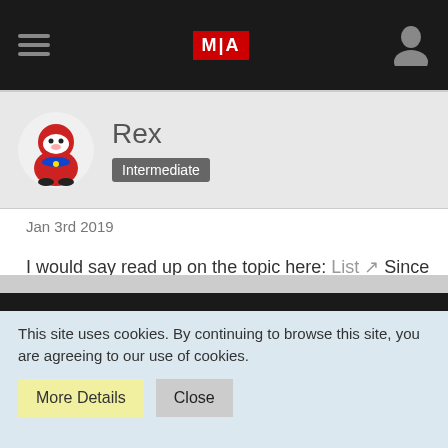MIA
Rex
Intermediate
Jan 3rd 2019
I would say read up on the topic here: List Since Dot2 is based upon the same architecture, the List Cmd is the same; just doesn't have an entry in the Glossary. Since you can't 'write' a Macros outside of a Cue, I assume that CmdLine operation in the Dot2 schema isn't expected?
This site uses cookies. By continuing to browse this site, you are agreeing to our use of cookies.
More Details  Close